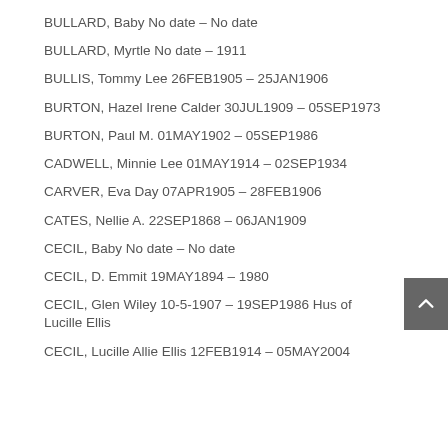BULLARD, Baby No date – No date
BULLARD, Myrtle No date – 1911
BULLIS, Tommy Lee 26FEB1905 – 25JAN1906
BURTON, Hazel Irene Calder 30JUL1909 – 05SEP1973
BURTON, Paul M. 01MAY1902 – 05SEP1986
CADWELL, Minnie Lee 01MAY1914 – 02SEP1934
CARVER, Eva Day 07APR1905 – 28FEB1906
CATES, Nellie A. 22SEP1868 – 06JAN1909
CECIL, Baby No date – No date
CECIL, D. Emmit 19MAY1894 – 1980
CECIL, Glen Wiley 10-5-1907 – 19SEP1986 Hus of Lucille Ellis
CECIL, Lucille Allie Ellis 12FEB1914 – 05MAY2004